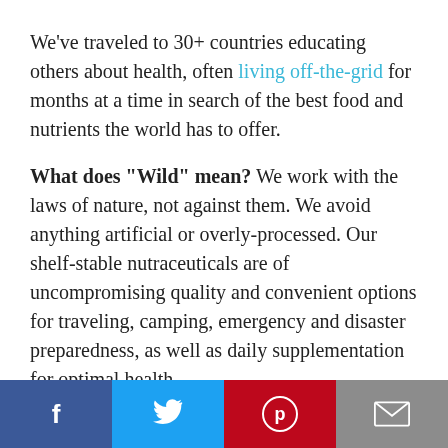We've traveled to 30+ countries educating others about health, often living off-the-grid for months at a time in search of the best food and nutrients the world has to offer.
What does "Wild" mean? We work with the laws of nature, not against them. We avoid anything artificial or overly-processed. Our shelf-stable nutraceuticals are of uncompromising quality and convenient options for traveling, camping, emergency and disaster preparedness, as well as daily supplementation for optimal health.
[Figure (infographic): Social media sharing bar with four buttons: Facebook (dark blue), Twitter (light blue), Pinterest (red), and Email (gray)]